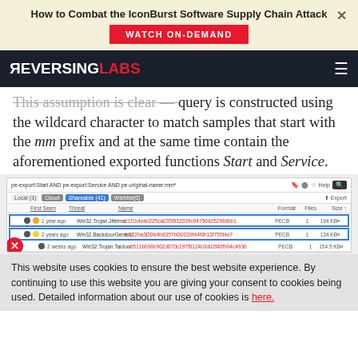How to Combat the IconBurst Software Supply Chain Attack
WATCH ON-DEMAND
[Figure (screenshot): ReversingLabs navigation bar with logo]
query is constructed using the wildcard character to match samples that start with the mm prefix and at the same time contain the aforementioned exported functions Start and Service.
[Figure (screenshot): ReversingLabs search interface showing query 'pe-export:Start AND pe-export:Service AND pe-original-name:mm*' with results table showing malware samples Win32.Trojan.Jifeima, Win32.BackdoorGaneric, Win32.Trojan.Taidoor with PECB format, 1 file each]
This website uses cookies to ensure the best website experience. By continuing to use this website you are giving your consent to cookies being used. Detailed information about our use of cookies is here.